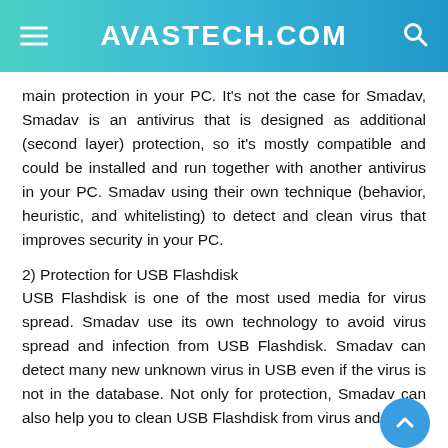AVASTECH.COM
main protection in your PC. It's not the case for Smadav, Smadav is an antivirus that is designed as additional (second layer) protection, so it's mostly compatible and could be installed and run together with another antivirus in your PC. Smadav using their own technique (behavior, heuristic, and whitelisting) to detect and clean virus that improves security in your PC.
2) Protection for USB Flashdisk
USB Flashdisk is one of the most used media for virus spread. Smadav use its own technology to avoid virus spread and infection from USB Flashdisk. Smadav can detect many new unknown virus in USB even if the virus is not in the database. Not only for protection, Smadav can also help you to clean USB Flashdisk from virus and